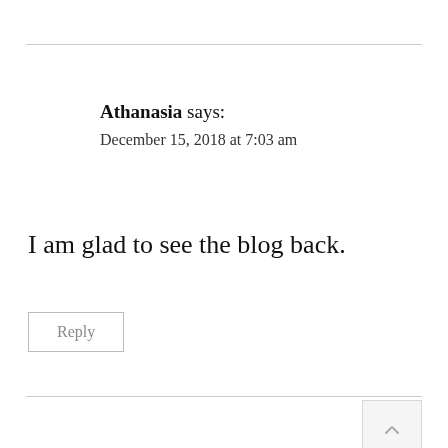Athanasia says:
December 15, 2018 at 7:03 am
I am glad to see the blog back.
Reply